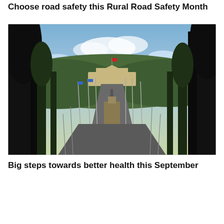Choose road safety this Rural Road Safety Month
[Figure (photo): Aerial/elevated view looking down a wide boulevard in Canberra, Australia, towards Parliament House on a hill in the distance. The road is flanked by tall dark trees on both sides and has multiple flag poles. Cars are visible on the road. Dusk/twilight sky with clouds.]
Big steps towards better health this September